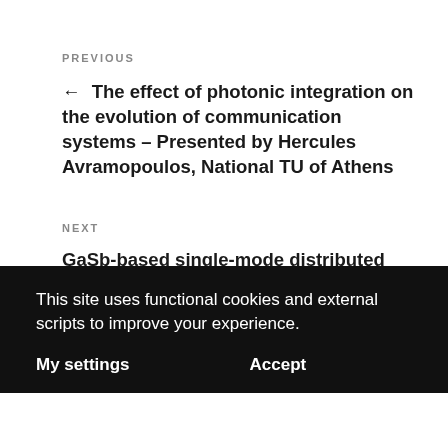PREVIOUS
← The effect of photonic integration on the evolution of communication systems – Presented by Hercules Avramopoulos, National TU of Athens
NEXT
GaSb-based single-mode distributed feedback lasers for sensing – Presented by Dr. James Gupta, National Research Council of Canada →
This site uses functional cookies and external scripts to improve your experience.
My settings   Accept